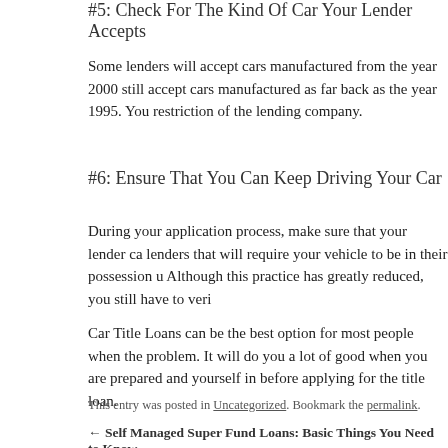#5: Check For The Kind Of Car Your Lender Accepts
Some lenders will accept cars manufactured from the year 2000 still accept cars manufactured as far back as the year 1995. You restriction of the lending company.
#6: Ensure That You Can Keep Driving Your Car
During your application process, make sure that your lender ca lenders that will require your vehicle to be in their possession u Although this practice has greatly reduced, you still have to veri
Car Title Loans can be the best option for most people when the problem. It will do you a lot of good when you are prepared and yourself in before applying for the title loan.
This entry was posted in Uncategorized. Bookmark the permalink.
← Self Managed Super Fund Loans: Basic Things You Need to Know